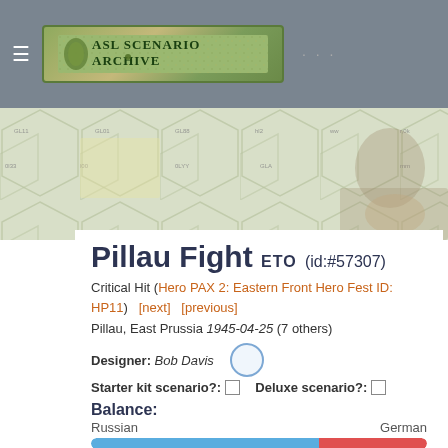[Figure (screenshot): ASL Scenario Archive website header with navigation bar (hamburger menu, logo, dots menu) and hexagonal wargame map banner background]
Pillau Fight ETO (id:#57307)
Critical Hit (Hero PAX 2: Eastern Front Hero Fest ID: HP11)   [next]   [previous]
Pillau, East Prussia 1945-04-25 (7 others)
Designer: Bob Davis
Starter kit scenario?:  □   Deluxe scenario?:  □
Balance:
Russian                                    German
[Figure (infographic): Balance bar showing Russian (blue, ~68%) vs German (red, ~32%) win rate]
Overview:
After Königsberg had fallen, the Soviet Army turned its attention to Pillau, which was fanatically defended by the Germans following orders which stated to...